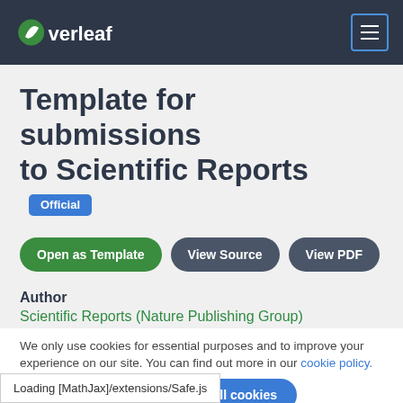Overleaf
Template for submissions to Scientific Reports Official
Open as Template | View Source | View PDF
Author
Scientific Reports (Nature Publishing Group)
We only use cookies for essential purposes and to improve your experience on our site. You can find out more in our cookie policy.
Essential cookies only   Accept all cookies
Loading [MathJax]/extensions/Safe.js